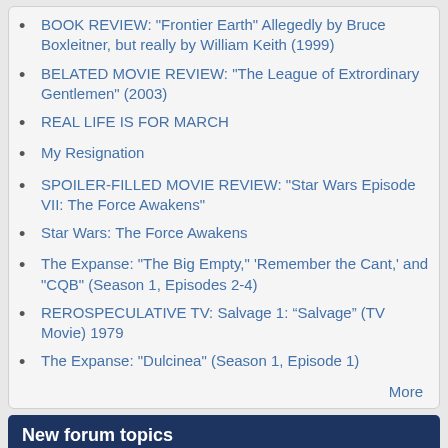BOOK REVIEW: "Frontier Earth" Allegedly by Bruce Boxleitner, but really by William Keith (1999)
BELATED MOVIE REVIEW: "The League of Extrordinary Gentlemen" (2003)
REAL LIFE IS FOR MARCH
My Resignation
SPOILER-FILLED MOVIE REVIEW: "Star Wars Episode VII: The Force Awakens"
Star Wars: The Force Awakens
The Expanse: "The Big Empty," 'Remember the Cant,' and "CQB" (Season 1, Episodes 2-4)
REROSPECULATIVE TV: Salvage 1: “Salvage” (TV Movie) 1979
The Expanse: "Dulcinea" (Season 1, Episode 1)
More
New forum topics
What's up
James Webb Space Telescope